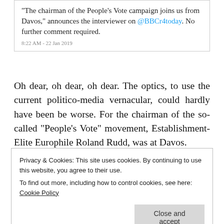[Figure (screenshot): Tweet screenshot: text reading '"The chairman of the People's Vote campaign joins us from Davos," announces the interviewer on @BBCr4today. No further comment required.' with timestamp '8:22 AM - 22 Jan 2019']
Oh dear, oh dear, oh dear. The optics, to use the current politico-media vernacular, could hardly have been be worse. For the chairman of the so-called "People's Vote" movement, Establishment-Elite Europhile Roland Rudd, was at Davos.
Privacy & Cookies: This site uses cookies. By continuing to use this website, you agree to their use. To find out more, including how to control cookies, see here: Cookie Policy
Close and accept
you are). “Liberal” “Progressivism”, most to deem